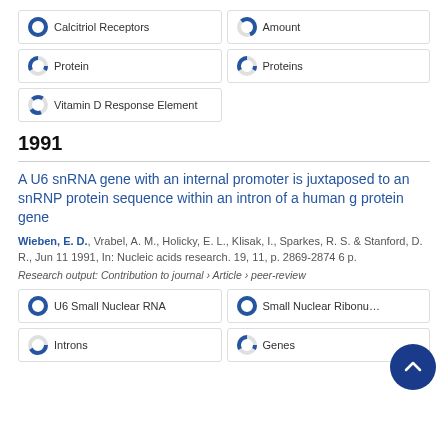100% Calcitriol Receptors
44% Amount
33% Protein
33% Proteins
22% Vitamin D Response Element
1991
A U6 snRNA gene with an internal promoter is juxtaposed to an snRNP protein sequence within an intron of a human g protein gene
Wieben, E. D., Vrabel, A. M., Holicky, E. L., Klisak, I., Sparkes, R. S. & Stanford, D. R., Jun 11 1991, In: Nucleic acids research. 19, 11, p. 2869-2874 6 p.
Research output: Contribution to journal › Article › peer-review
100% U6 Small Nuclear RNA
100% Small Nuclear Ribonu...
67% Introns
33% Genes